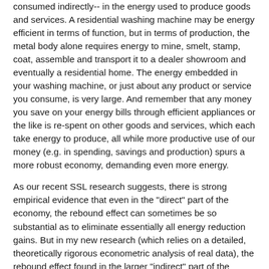consumed indirectly-- in the energy used to produce goods and services. A residential washing machine may be energy efficient in terms of function, but in terms of production, the metal body alone requires energy to mine, smelt, stamp, coat, assemble and transport it to a dealer showroom and eventually a residential home. The energy embedded in your washing machine, or just about any product or service you consume, is very large. And remember that any money you save on your energy bills through efficient appliances or the like is re-spent on other goods and services, which each take energy to produce, all while more productive use of our money (e.g. in spending, savings and production) spurs a more robust economy, demanding even more energy.
As our recent SSL research suggests, there is strong empirical evidence that even in the "direct" part of the economy, the rebound effect can sometimes be so substantial as to eliminate essentially all energy reduction gains. But in my new research (which relies on a detailed, theoretically rigorous econometric analysis of real data), the rebound effect found in the larger "indirect" part of the economy is even more significant -- and more worrisome.